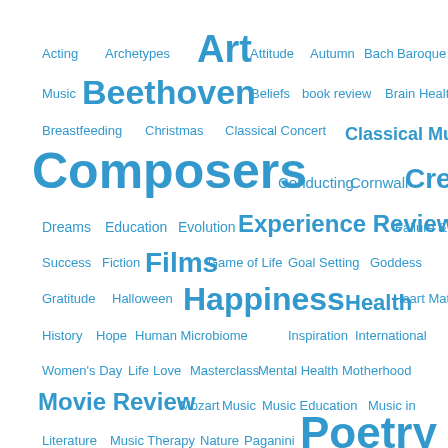[Figure (infographic): Word cloud featuring various topics in blue text at different font sizes. Words include: Acting, Archetypes, Art (large), Attitude, Autumn, Bach, Baroque Music, Beethoven (large), Beliefs, book review, Brain Health, Breastfeeding, Christmas, Classical Concert, Classical Music (large), Composers (very large), Conducting, Cornwall, Creativity (very large), Dreams, Education, Evolution, Experience Review (large), Failure & Success, Fiction, Films (large), Game of Life, Goal Setting, Goddess, Gratitude, Halloween, Happiness (very large), Health (large), Heart Matters, History, Hope, Human Microbiome, Inspiration, International Women's Day, Life, Love, Masterclass, Mental Health, Motherhood, Movie Review (large), Mozart, Music, Music Education, Music in Literature, Music Therapy, Nature, Paganini, Poetry (very large)]